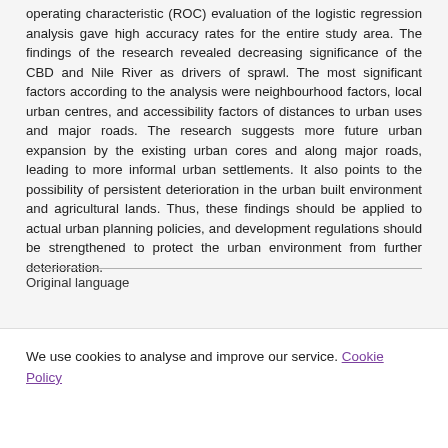operating characteristic (ROC) evaluation of the logistic regression analysis gave high accuracy rates for the entire study area. The findings of the research revealed decreasing significance of the CBD and Nile River as drivers of sprawl. The most significant factors according to the analysis were neighbourhood factors, local urban centres, and accessibility factors of distances to urban uses and major roads. The research suggests more future urban expansion by the existing urban cores and along major roads, leading to more informal urban settlements. It also points to the possibility of persistent deterioration in the urban built environment and agricultural lands. Thus, these findings should be applied to actual urban planning policies, and development regulations should be strengthened to protect the urban environment from further deterioration.
Original language
We use cookies to analyse and improve our service. Cookie Policy